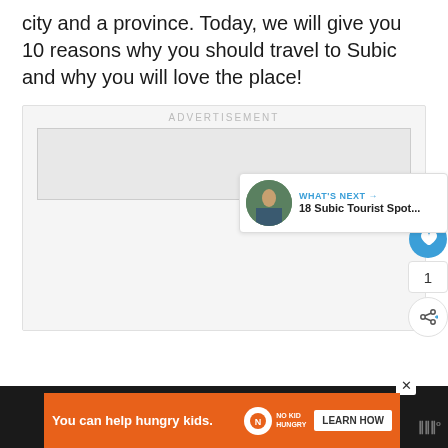city and a province. Today, we will give you 10 reasons why you should travel to Subic and why you will love the place!
[Figure (other): Advertisement placeholder box with label 'ADVERTISEMENT' and grey inner rectangle]
[Figure (infographic): Like button (heart icon, blue circle), count of 1, and share button]
[Figure (infographic): What's Next widget with thumbnail and text '18 Subic Tourist Spot...']
[Figure (infographic): Bottom banner ad: 'You can help hungry kids.' with No Kid Hungry logo and Learn How button, close X, and MW logo]